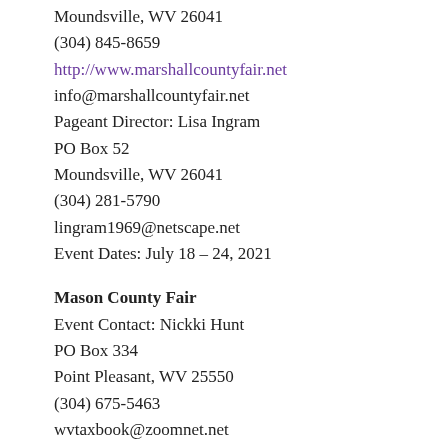Moundsville, WV 26041
(304) 845-8659
http://www.marshallcountyfair.net
info@marshallcountyfair.net
Pageant Director: Lisa Ingram
PO Box 52
Moundsville, WV 26041
(304) 281-5790
lingram1969@netscape.net
Event Dates: July 18 – 24, 2021
Mason County Fair
Event Contact: Nickki Hunt
PO Box 334
Point Pleasant, WV 25550
(304) 675-5463
wvtaxbook@zoomnet.net